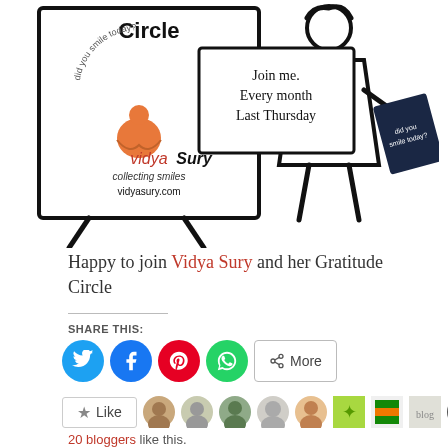[Figure (illustration): Illustration showing a sign/easel board with 'Gratitude Circle' text at top, a VidyaSury logo with an orange meditating figure, text 'vidyaSury collecting smiles vidyasury.com', and 'did you smile today?' text in a circle. Next to it is a stick figure character holding a dark banner that says 'did you smile today?' and the board says 'Join me. Every month Last Thursday'.]
Happy to join Vidya Sury and her Gratitude Circle
SHARE THIS:
[Figure (infographic): Social share buttons: Twitter (blue circle), Facebook (blue circle), Pinterest (red circle), WhatsApp (green circle), and a More button]
Like | 20 bloggers like this.